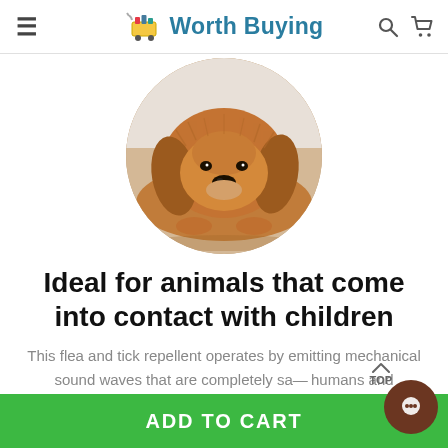≡  Worth Buying  🔍  🛒
[Figure (photo): A golden retriever/cocker spaniel dog lying down with head resting on paws, photographed from front, displayed in a circular crop against white background.]
Ideal for animals that come into contact with children
This flea and tick repellent operates by emitting mechanical sound waves that are completely safe for humans and household pets (even for wearers of a pacemaker or other devices). Push button and l…
ADD TO CART